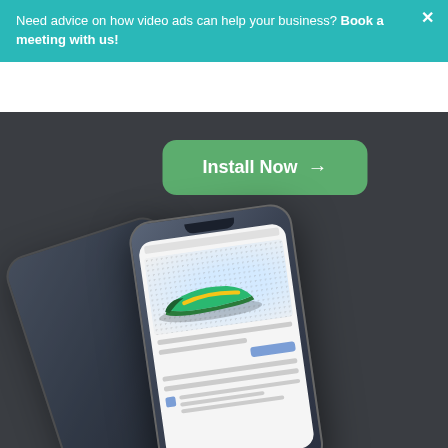Need advice on how video ads can help your business? Book a meeting with us!
[Figure (screenshot): A teal/dark promotional banner with an 'Install Now →' green button and two iPhone mockups showing a mobile app with a Nike sneaker product listing on a dark background]